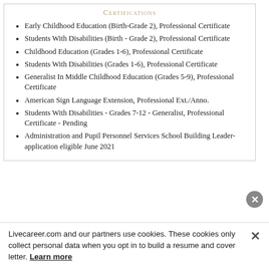Certifications
Early Childhood Education (Birth-Grade 2), Professional Certificate
Students With Disabilities (Birth - Grade 2), Professional Certificate
Childhood Education (Grades 1-6), Professional Certificate
Students With Disabilities (Grades 1-6), Professional Certificate
Generalist In Middle Childhood Education (Grades 5-9), Professional Certificate
American Sign Language Extension, Professional Ext./Anno.
Students With Disabilities - Grades 7-12 - Generalist, Professional Certificate - Pending
Administration and Pupil Personnel Services School Building Leader-application eligible June 2021
Livecareer.com and our partners use cookies. These cookies only collect personal data when you opt in to build a resume and cover letter. Learn more